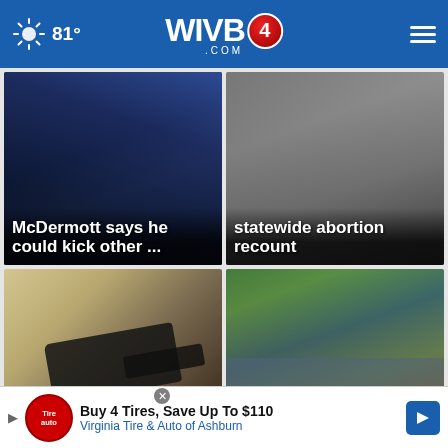81° WIVB4.COM
[Figure (screenshot): News card: McDermott says he could kick other ... (dark background with hand/glove)]
[Figure (screenshot): News card: statewide abortion recount (interior room background)]
[Figure (screenshot): News card: Buffalo man slapped with assault, weapons cha... (gun/weapon on surface)]
[Figure (screenshot): News card: Floods wreak havoc across Pakistan; ...3 (flooded street scene)]
Buy 4 Tires, Save Up To $110 Virginia Tire & Auto of Ashburn